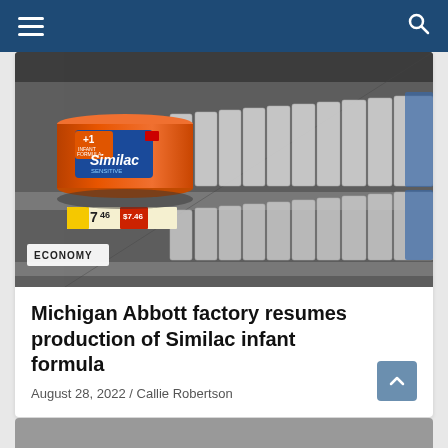Navigation bar with menu and search icons
[Figure (photo): Store shelf with Similac Sensitive infant formula can prominently displayed on the left, with rows of white baby formula containers on the right. A price tag showing 7.46 is visible. An 'ECONOMY' label appears in the lower left of the image.]
Michigan Abbott factory resumes production of Similac infant formula
August 28, 2022 / Callie Robertson